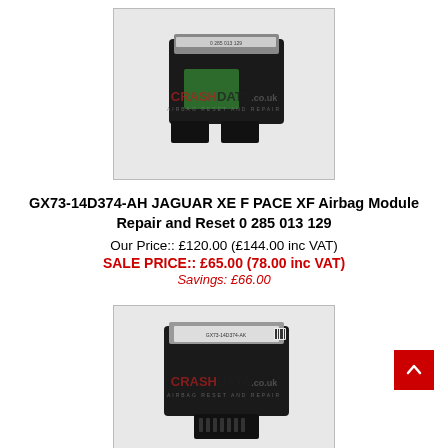[Figure (photo): Photo of GX73-14D374-AH Jaguar airbag module, a small black rectangular electronic control unit with connectors, on a white background, with CrashData.co.uk watermark.]
GX73-14D374-AH JAGUAR XE F PACE XF Airbag Module Repair and Reset 0 285 013 129
Our Price:: £120.00 (£144.00 inc VAT)
SALE PRICE:: £65.00 (78.00 inc VAT)
Savings: £66.00
[Figure (photo): Photo of GX73-14D374-AK Jaguar airbag module, a small black rectangular electronic control unit with a single connector, on a white background, with CrashData.co.uk watermark.]
GX73-14D374-AK JAGUAR XE F PACE XF Airbag Module